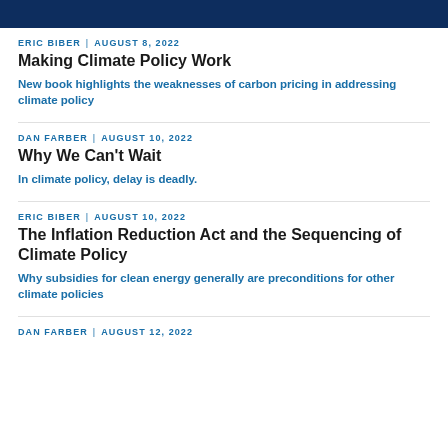Legal Planet
ERIC BIBER | AUGUST 8, 2022
Making Climate Policy Work
New book highlights the weaknesses of carbon pricing in addressing climate policy
DAN FARBER | AUGUST 10, 2022
Why We Can't Wait
In climate policy, delay is deadly.
ERIC BIBER | AUGUST 10, 2022
The Inflation Reduction Act and the Sequencing of Climate Policy
Why subsidies for clean energy generally are preconditions for other climate policies
DAN FARBER | AUGUST 12, 2022